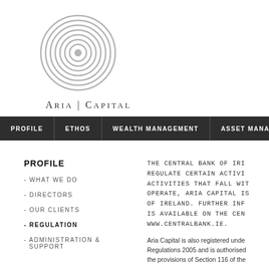[Figure (logo): Aria Capital concentric circles logo in grey]
ARIA | CAPITAL
PROFILE | ETHOS | WEALTH MANAGEMENT | ASSET MANAGEMENT
PROFILE
- WHAT WE DO
- DIRECTORS
- OUR CLIENTS
- REGULATION
- ADMINISTRATION & SUPPORT
THE CENTRAL BANK OF IRELAND REGULATE CERTAIN ACTIVITIES. ACTIVITIES THAT FALL WITHIN THE ACTIVITIES THAT WE OPERATE, ARIA CAPITAL IS REGULATED BY THE CENTRAL BANK OF IRELAND. FURTHER INFORMATION IS AVAILABLE ON THE CENTRAL BANK WEBSITE WWW.CENTRALBANK.IE.
Aria Capital is also registered under the Regulations 2005 and is authorised under the provisions of Section 116 of the